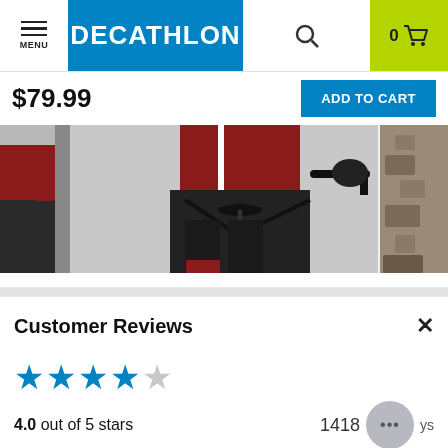MENU | DECATHLON | 0 (cart)
$79.99
ADD TO CART
[Figure (photo): Two cyclists in dark cycling gear and red jerseys, one seated on a road bike, photographed in close-up from waist down. A partial rocky surface visible on the right.]
Customer Reviews
4.0 out of 5 stars
1418 reviews
678